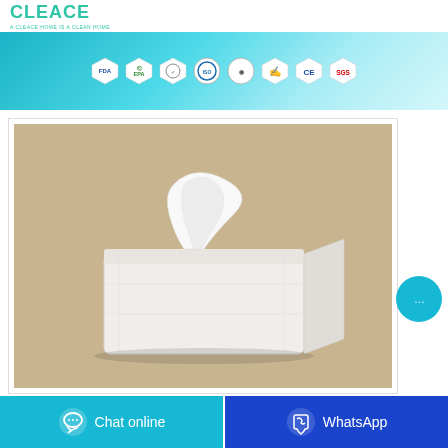CLEACE — A CLEACE HOME IS A CLEAN HOME
[Figure (infographic): Teal/cyan banner with certification logos: FDA, EPA, and six other certification badge icons arranged horizontally]
[Figure (photo): Product photo of a white facial tissue box/pack on a tan/beige background, with a tissue pulled out from the top]
Chat online
WhatsApp